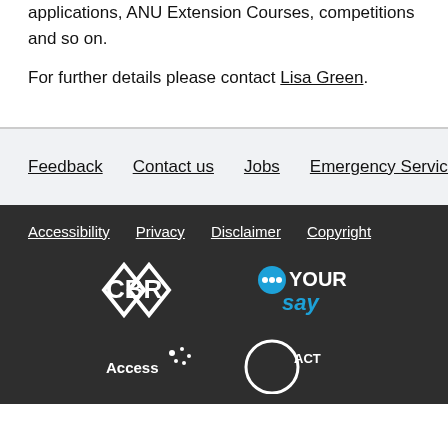applications, ANU Extension Courses, competitions and so on.
For further details please contact Lisa Green.
Feedback  Contact us  Jobs  Emergency Services
Accessibility  Privacy  Disclaimer  Copyright
[Figure (logo): CBR logo (white geometric diamond shapes) and YourSay logo (white and blue speech bubble text)]
[Figure (logo): Access Canberra logo and ACT Government logo]